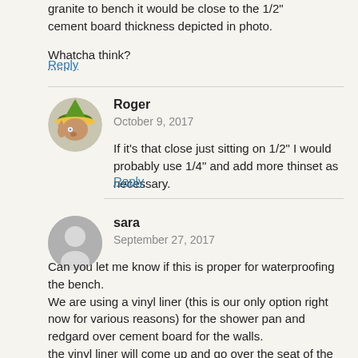granite to bench it would be close to the 1/2" cement board thickness depicted in photo.
Whatcha think?
Reply
Roger
October 9, 2017
If it's that close just sitting on 1/2" I would probably use 1/4" and add more thinset as necessary.
Reply
sara
September 27, 2017
Can you let me know if this is proper for waterproofing the bench.
We are using a vinyl liner (this is our only option right now for various reasons) for the shower pan and redgard over cement board for the walls.
the vinyl liner will come up and go over the seat of the bench and then up the walls some. That liner will go